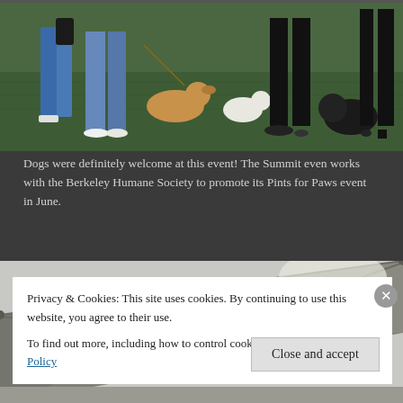[Figure (photo): Outdoor photo showing people with dogs on a green grass lawn at an event. Several dogs visible including a golden/tan dog, a small white dog, and a black fluffy dog.]
Dogs were definitely welcome at this event! The Summit even works with the Berkeley Humane Society to promote its Pints for Paws event in June.
[Figure (photo): Close-up photo of a gray event tent canopy from below, with structural poles visible against a light background. Reversed text visible on the tent fabric.]
Privacy & Cookies: This site uses cookies. By continuing to use this website, you agree to their use.
To find out more, including how to control cookies, see here: Cookie Policy
Close and accept